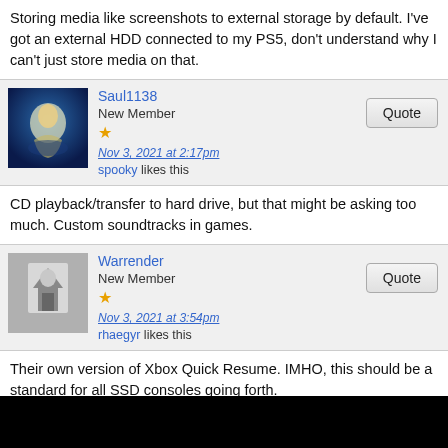Storing media like screenshots to external storage by default. I've got an external HDD connected to my PS5, don't understand why I can't just store media on that.
Saul1138
New Member
★
Nov 3, 2021 at 2:17pm
spooky likes this
CD playback/transfer to hard drive, but that might be asking too much. Custom soundtracks in games.
Warrender
New Member
★
Nov 3, 2021 at 3:54pm
rhaegyr likes this
Their own version of Xbox Quick Resume. IMHO, this should be a standard for all SSD consoles going forth.
malek86
Junior Member
★★